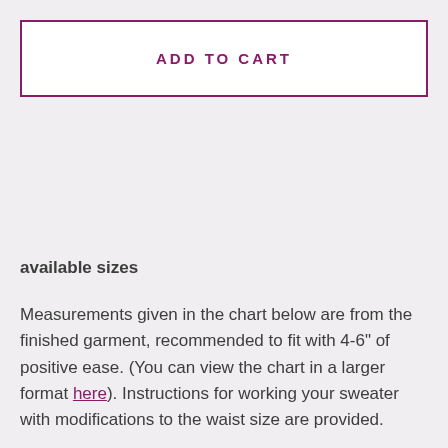ADD TO CART
available sizes
Measurements given in the chart below are from the finished garment, recommended to fit with 4-6" of positive ease. (You can view the chart in a larger format here). Instructions for working your sweater with modifications to the waist size are provided.